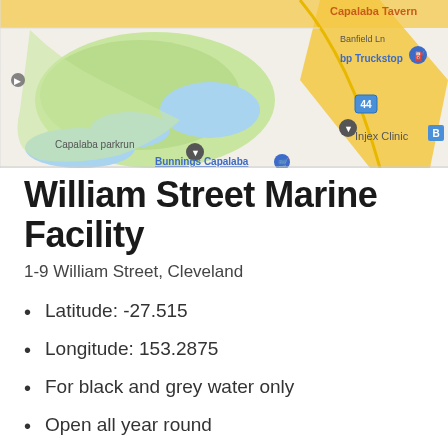[Figure (map): Google Maps screenshot showing area around Capalaba, featuring Capalaba Tavern, Banfield Ln, bp Truckstop, Capalaba parkrun, Injex Clinic, and Bunnings Capalaba with roads, green parks and water bodies visible.]
William Street Marine Facility
1-9 William Street, Cleveland
Latitude: -27.515
Longitude: 153.2875
For black and grey water only
Open all year round
Potable water available (hose required)
Wash-down hose available